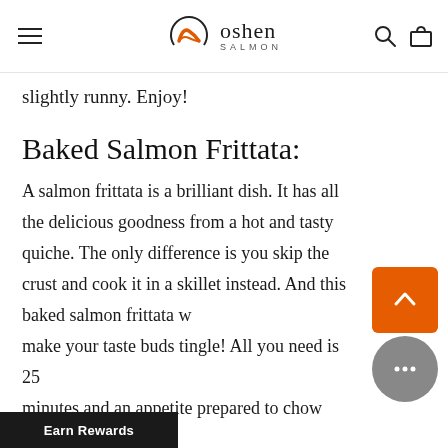oshen SALMON
slightly runny. Enjoy!
Baked Salmon Frittata:
A salmon frittata is a brilliant dish. It has all the delicious goodness from a hot and tasty quiche. The only difference is you skip the crust and cook it in a skillet instead. And this baked salmon frittata will make your taste buds tingle! All you need is 25 minutes and an appetite prepared to chow down.
The ingredients for this salmon recipe are butter, smoked salmon, red onion, sea salt, eggs, black